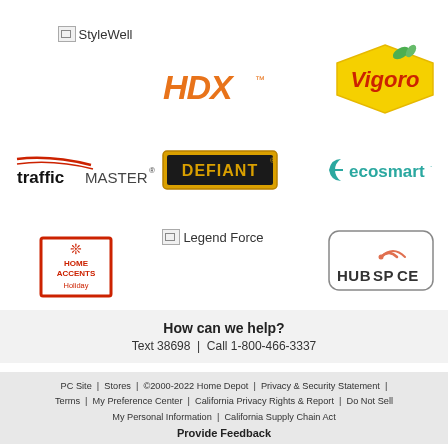[Figure (logo): StyleWell brand logo (broken image)]
[Figure (logo): HDX brand logo in orange]
[Figure (logo): Vigoro brand logo in yellow hexagon with red text and green leaves]
[Figure (logo): trafficMASTER logo with red swoosh]
[Figure (logo): DEFIANT logo in gold/black rectangular badge]
[Figure (logo): ecosmart logo in teal with leaf icon]
[Figure (logo): Legend Force logo (broken image)]
[Figure (logo): Home Accents Holiday logo in red square with snowflake]
[Figure (logo): HUBSPACE logo in rounded rectangle with wifi arc]
How can we help?
Text 38698  |  Call 1-800-466-3337
PC Site | Stores | ©2000-2022 Home Depot | Privacy & Security Statement | Terms | My Preference Center | California Privacy Rights & Report | Do Not Sell My Personal Information | California Supply Chain Act
Provide Feedback